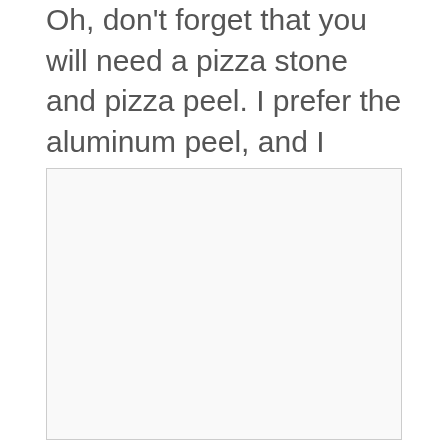Oh, don't forget that you will need a pizza stone and pizza peel. I prefer the aluminum peel, and I highly recommend you get the KettlePizza official pizza stone since its made for the grill and much more crack resistant than other types of pizza stone.
[Figure (photo): A rectangular image placeholder with a light gray background and thin gray border, occupying the lower portion of the page.]